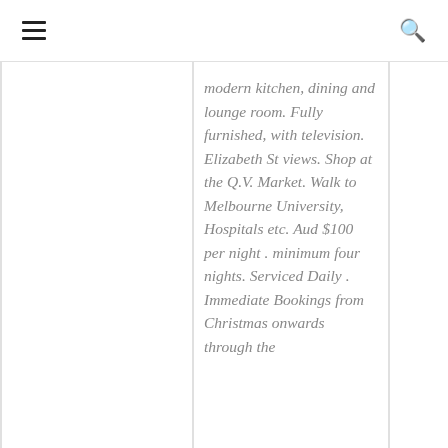[Figure (other): Top navigation bar with hamburger menu icon on the left and search icon on the right]
modern kitchen, dining and lounge room. Fully furnished, with television. Elizabeth St views. Shop at the Q.V. Market. Walk to Melbourne University, Hospitals etc. Aud $100 per night . minimum four nights. Serviced Daily . Immediate Bookings from Christmas onwards through the